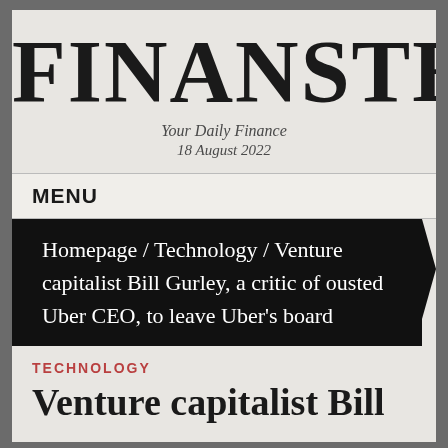FINANSTE
Your Daily Finance
18 August 2022
MENU
Homepage / Technology / Venture capitalist Bill Gurley, a critic of ousted Uber CEO, to leave Uber's board
TECHNOLOGY
Venture capitalist Bill